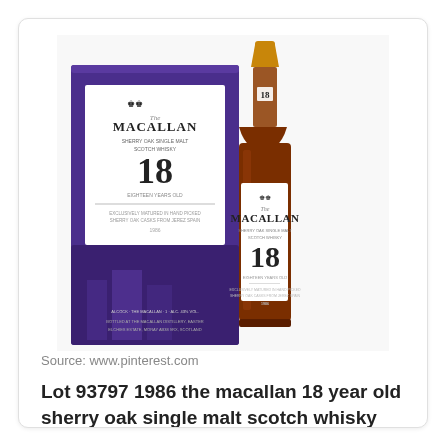[Figure (photo): Photo of The Macallan 18 Year Old Sherry Oak Single Malt Scotch Whisky bottle and purple box packaging. The bottle has a white label with gold top, showing 'The Macallan 18' text. The box is deep purple with the Macallan branding and castle imagery.]
Source: www.pinterest.com
Lot 93797 1986 the macallan 18 year old sherry oak single malt scotch whisky speyside highlands scotland 1 399 00.